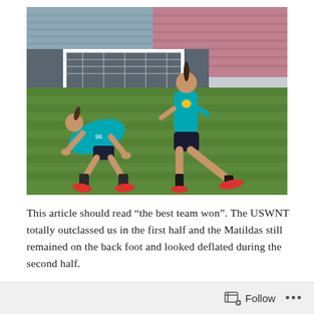[Figure (photo): Two female soccer players in teal/cyan Australian national team jerseys stretching on a grass field inside a stadium. One player is doing a lunge stretch in the foreground right, while another player is bent forward on all fours to the left. Stadium seats in blue and pink/red are visible in the background, along with a white goal post.]
This article should read “the best team won”. The USWNT totally outclassed us in the first half and the Matildas still remained on the back foot and looked deflated during the second half.
Follow ...